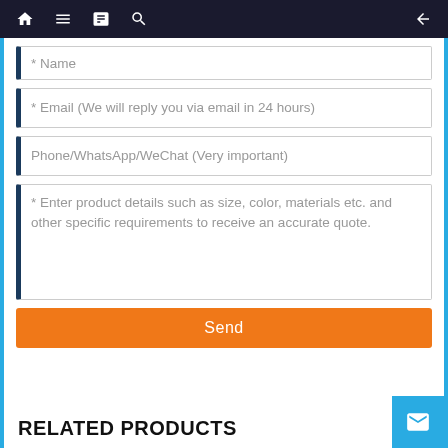Navigation bar with home, menu, book, search icons and back arrow
* Name
* Email (We will reply you via email in 24 hours)
Phone/WhatsApp/WeChat (Very important)
* Enter product details such as size, color, materials etc. and other specific requirements to receive an accurate quote.
Send
RELATED PRODUCTS